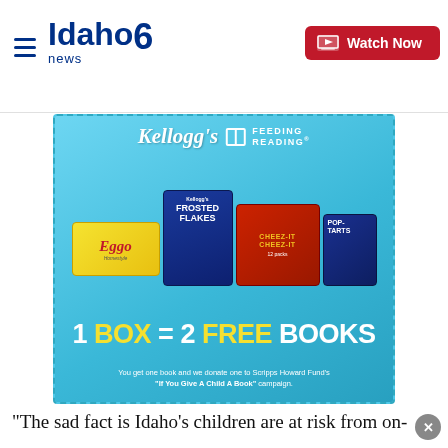Idaho News 6 — Watch Now
[Figure (infographic): Kellogg's Feeding Reading advertisement: 1 BOX = 2 FREE BOOKS. You get one book and we donate one to Scripps Howard Fund's "If You Give A Child A Book" campaign. Features Frosted Flakes, Eggo, Cheez-It, and Pop-Tarts products.]
“The sad fact is Idaho’s children are at risk from on-